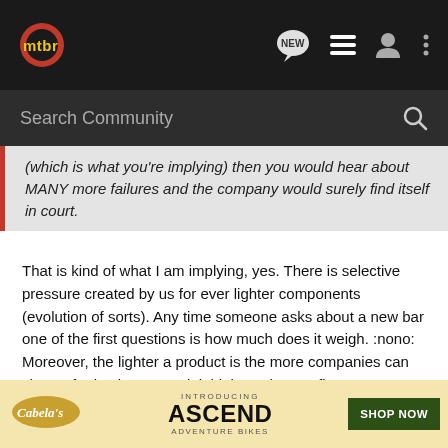mtbr — NEW, list, user, more icons header with Search Community bar
(which is what you're implying) then you would hear about MANY more failures and the company would surely find itself in court.
That is kind of what I am implying, yes. There is selective pressure created by us for ever lighter components (evolution of sorts). Any time someone asks about a new bar one of the first questions is how much does it weigh. :nono: Moreover, the lighter a product is the more companies can charge for it... less material, higher price, go figure. :thumbsup: I do not think that companies purposefully make dangerous equipment in general, but they do play the law of averages.
The reason that companies do not find themselves in court is because most people understand that mountain biking is a dangerous [sport] and would use our brai[ns]...
[Figure (screenshot): Cabela's Ascend Adventure Bikes advertisement banner with SHOP NOW button]